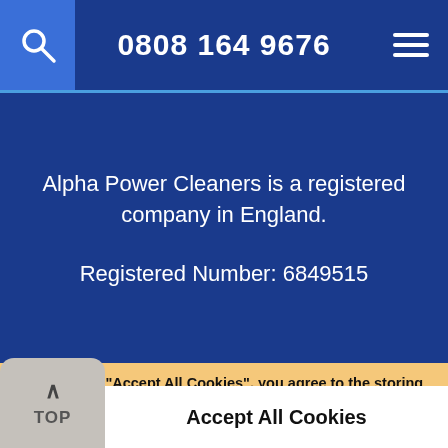0808 164 9676
Alpha Power Cleaners is a registered company in England.
Registered Number: 6849515
By clicking "Accept All Cookies", you agree to the storing of cookies on your device to enhance site navigation, analyse site usage, assist in our marketing efforts, and for personalised advertising.
More Information
Accept All Cookies